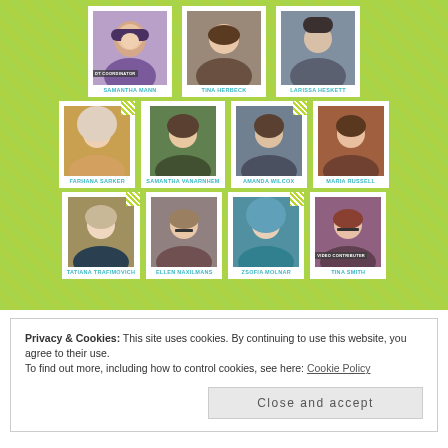[Figure (photo): A team photo grid on a lime-green patterned background showing 11 women with their names labeled below each photo. Row 1 (3 photos): Samantha Mann (DT Coordinator), Tina Herbeck, Larissa Heskett. Row 2 (4 photos): Farhana Sarker, Samantha VanArnhem, Amanda Wilcox, Maria Russell. Row 3 (4 photos): Tatiana Trafimovich, Ellen Naxilmans, Zsofia Molnar, Tina Smith (Video Contributer).]
Privacy & Cookies: This site uses cookies. By continuing to use this website, you agree to their use.
To find out more, including how to control cookies, see here: Cookie Policy
Close and accept